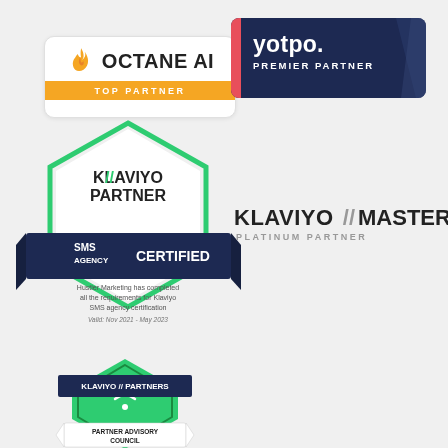[Figure (logo): Octane AI Top Partner badge - white rounded rectangle with orange flame icon, bold OCTANE AI text, and orange banner reading TOP PARTNER]
[Figure (logo): Yotpo Premier Partner badge - dark navy rectangle with pink/red left bar, yotpo. text and PREMIER PARTNER subtitle, geometric chevron pattern on right]
[Figure (logo): Klaviyo Partner SMS Agency Certified shield badge - hexagonal green outline shield with dark navy ribbon banner reading SMS AGENCY CERTIFIED, text inside reading Hustler Marketing has completed all the requirements for Klaviyo SMS agency certification. Valid: Nov 2021 - May 2023]
[Figure (logo): Klaviyo Master Platinum Partner logo - bold black KLAVIYO double-slash MASTER text with PLATINUM PARTNER subtitle in grey]
[Figure (logo): Klaviyo Partners Partner Advisory Council badge - green hexagon with wifi icon, black/white banner with KLAVIYO // PARTNERS text, and PARTNER ADVISORY COUNCIL on lower banner]